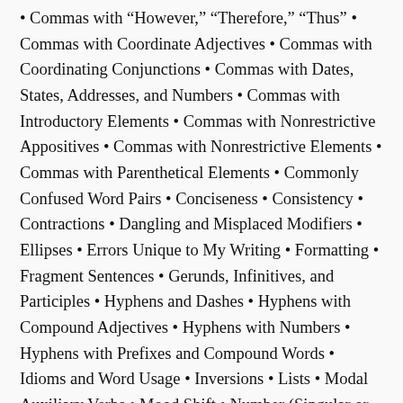• Commas with "However," "Therefore," "Thus" • Commas with Coordinate Adjectives • Commas with Coordinating Conjunctions • Commas with Dates, States, Addresses, and Numbers • Commas with Introductory Elements • Commas with Nonrestrictive Appositives • Commas with Nonrestrictive Elements • Commas with Parenthetical Elements • Commonly Confused Word Pairs • Conciseness • Consistency • Contractions • Dangling and Misplaced Modifiers • Ellipses • Errors Unique to My Writing • Formatting • Fragment Sentences • Gerunds, Infinitives, and Participles • Hyphens and Dashes • Hyphens with Compound Adjectives • Hyphens with Numbers • Hyphens with Prefixes and Compound Words • Idioms and Word Usage • Inversions • Lists • Modal Auxiliary Verbs • Mood Shift • Number (Singular or Plural) • Numbers Format • Omitting Space or Inserting Too Much Space • Parallelism in Lists and Sentences • Parentheses • Passive Voice •